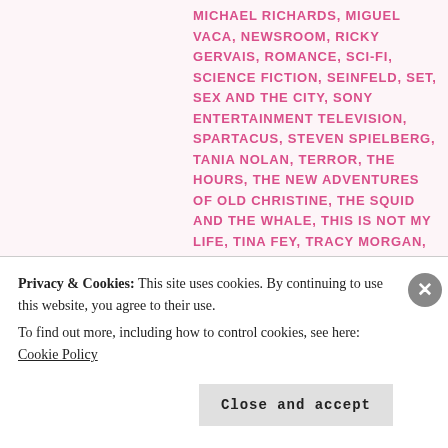MICHAEL RICHARDS, MIGUEL VACA, NEWSROOM, RICKY GERVAIS, ROMANCE, SCI-FI, SCIENCE FICTION, SEINFELD, SET, SEX AND THE CITY, SONY ENTERTAINMENT TELEVISION, SPARTACUS, STEVEN SPIELBERG, TANIA NOLAN, TERROR, THE HOURS, THE NEW ADVENTURES OF OLD CHRISTINE, THE SQUID AND THE WHALE, THIS IS NOT MY LIFE, TINA FEY, TRACY MORGAN, TWENTIETH CENTURY FOX, V: THE FINAL BATTLE, VACACION, VEEP, WORLD, ZACHARY QUINTO | 1 COMMENT
[Continúa]
Privacy & Cookies: This site uses cookies. By continuing to use this website, you agree to their use. To find out more, including how to control cookies, see here: Cookie Policy